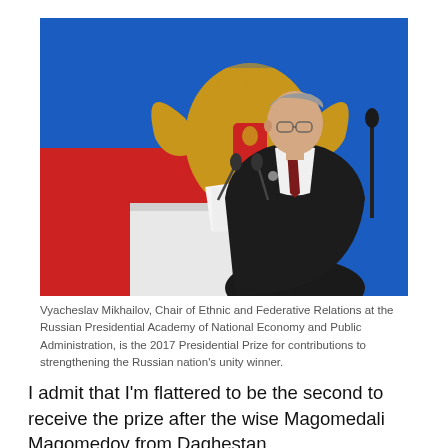[Figure (photo): A man in a dark suit with a dark red tie stands at a white podium holding papers, speaking at an event. Behind him is a large Russian coat of arms (double-headed eagle) on a blue background with a Russian flag. Two microphones are on the podium.]
Vyacheslav Mikhailov, Chair of Ethnic and Federative Relations at the Russian Presidential Academy of National Economy and Public Administration, is the 2017 Presidential Prize for contributions to strengthening the Russian nation's unity winner.
I admit that I'm flattered to be the second to receive the prize after the wise Magomedali Magomedov from Daghestan.